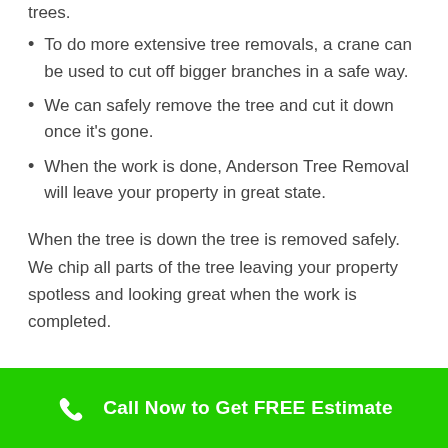trees.
To do more extensive tree removals, a crane can be used to cut off bigger branches in a safe way.
We can safely remove the tree and cut it down once it's gone.
When the work is done, Anderson Tree Removal will leave your property in great state.
When the tree is down the tree is removed safely. We chip all parts of the tree leaving your property spotless and looking great when the work is completed.
Call Now to Get FREE Estimate